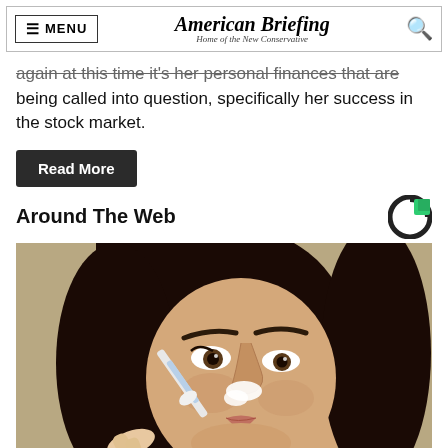MENU | American Briefing Home of the New Conservative | 🔍
again at this time it's her personal finances that are being called into question, specifically her success in the stock market.
Read More
Around The Web
[Figure (photo): Close-up photo of a dark-haired woman applying something white to her nose with a brush or applicator.]